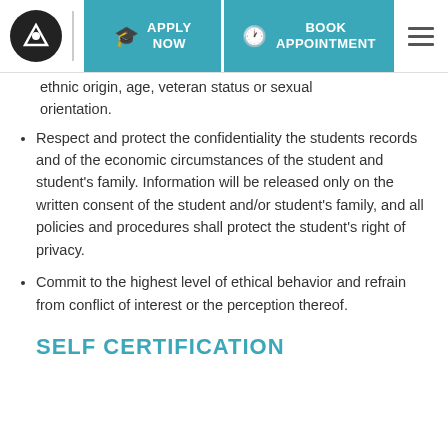[Figure (screenshot): Website navigation header with logo, Apply Now button, Book Appointment button, and hamburger menu]
ethnic origin, age, veteran status or sexual orientation.
Respect and protect the confidentiality the students records and of the economic circumstances of the student and student's family. Information will be released only on the written consent of the student and/or student's family, and all policies and procedures shall protect the student's right of privacy.
Commit to the highest level of ethical behavior and refrain from conflict of interest or the perception thereof.
SELF CERTIFICATION